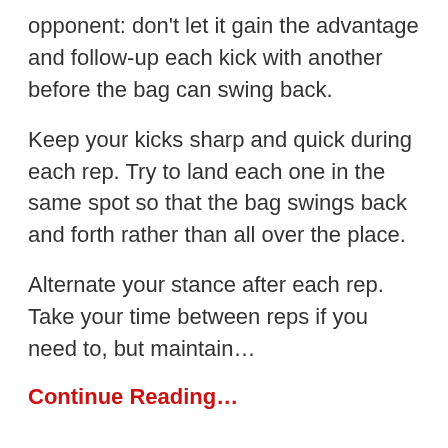opponent: don't let it gain the advantage and follow-up each kick with another before the bag can swing back.
Keep your kicks sharp and quick during each rep. Try to land each one in the same spot so that the bag swings back and forth rather than all over the place.
Alternate your stance after each rep. Take your time between reps if you need to, but maintain…
Continue Reading…